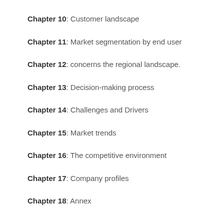Chapter 10: Customer landscape
Chapter 11: Market segmentation by end user
Chapter 12: concerns the regional landscape.
Chapter 13: Decision-making process
Chapter 14: Challenges and Drivers
Chapter 15: Market trends
Chapter 16: The competitive environment
Chapter 17: Company profiles
Chapter 18: Annex